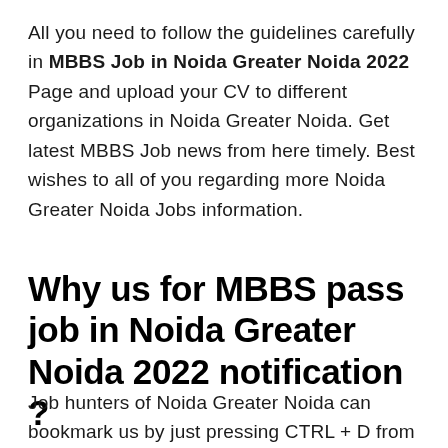All you need to follow the guidelines carefully in MBBS Job in Noida Greater Noida 2022 Page and upload your CV to different organizations in Noida Greater Noida. Get latest MBBS Job news from here timely. Best wishes to all of you regarding more Noida Greater Noida Jobs information.
Why us for MBBS pass job in Noida Greater Noida 2022 notification ?
Job hunters of Noida Greater Noida can bookmark us by just pressing CTRL + D from their Keyboard and then they will not get shortage of MBBS